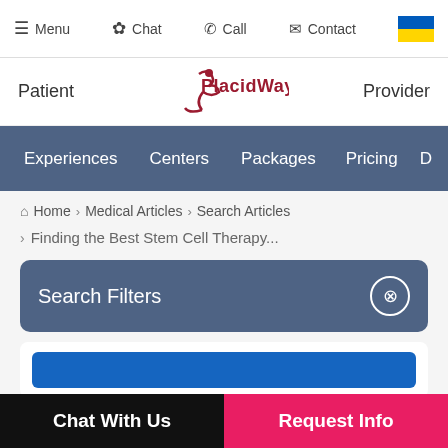Menu  Chat  Call  Contact
[Figure (logo): PlacidWay logo with red swoosh figure, Patient link on left, Provider link on right]
Experiences  Centers  Packages  Pricing  D...
Home > Medical Articles > Search Articles
> Finding the Best Stem Cell Therapy...
Search Filters
Chat With Us
Request Info